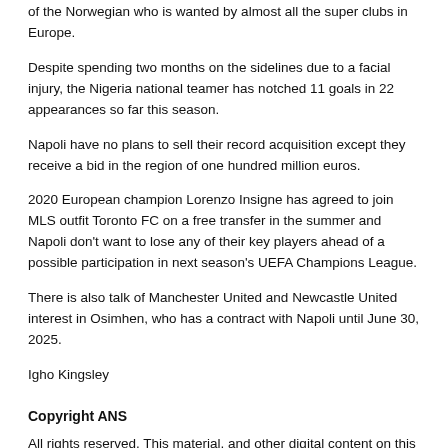of the Norwegian who is wanted by almost all the super clubs in Europe.
Despite spending two months on the sidelines due to a facial injury, the Nigeria national teamer has notched 11 goals in 22 appearances so far this season.
Napoli have no plans to sell their record acquisition except they receive a bid in the region of one hundred million euros.
2020 European champion Lorenzo Insigne has agreed to join MLS outfit Toronto FC on a free transfer in the summer and Napoli don't want to lose any of their key players ahead of a possible participation in next season's UEFA Champions League.
There is also talk of Manchester United and Newcastle United interest in Osimhen, who has a contract with Napoli until June 30, 2025.
Igho Kingsley
Copyright ANS
All rights reserved. This material, and other digital content on this website, may not be reproduced, published, rewritten or redistributed in whole or in part without prior express written permission from allnigeriasoccer.com
[Figure (other): Social sharing buttons: Facebook, Twitter, and a plus/share button]